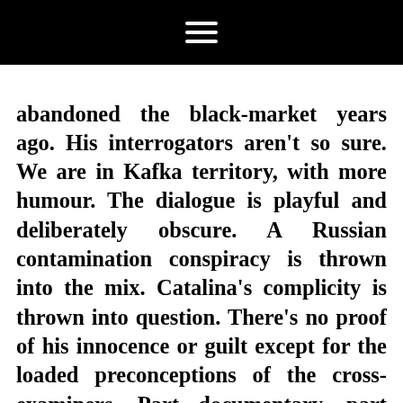☰
abandoned the black-market years ago. His interrogators aren't so sure. We are in Kafka territory, with more humour. The dialogue is playful and deliberately obscure. A Russian contamination conspiracy is thrown into the mix. Catalina's complicity is thrown into question. There's no proof of his innocence or guilt except for the loaded preconceptions of the cross-examiners. Part documentary, part courtroom drama and part absurdism, the piece invites us also to playfully question the power of the decision makers of the world.